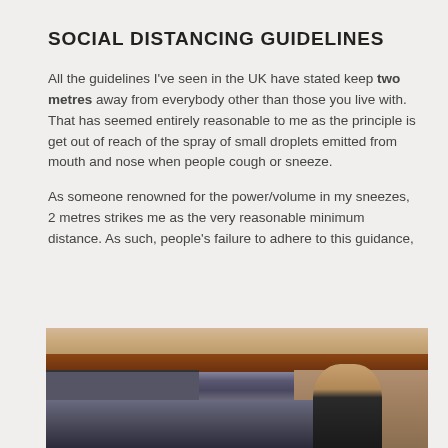SOCIAL DISTANCING GUIDELINES
All the guidelines I've seen in the UK have stated keep two metres away from everybody other than those you live with. That has seemed entirely reasonable to me as the principle is get out of reach of the spray of small droplets emitted from mouth and nose when people cough or sneeze.
As someone renowned for the power/volume in my sneezes, 2 metres strikes me as the very reasonable minimum distance. As such, people's failure to adhere to this guidance,
[Figure (photo): Outdoor photo showing a retail building with a tiled roof and parked cars in a car park. A person is standing to the right side of the image.]